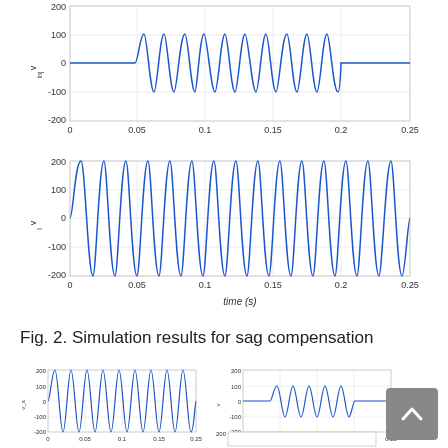[Figure (continuous-plot): Middle subplot: v_inj voltage waveform vs time. Sinusoidal waveform active between ~0.04s and ~0.21s, flat/zero outside. Y-axis: -200 to 200, X-axis: 0 to 0.25s. Y-label: v_inj]
[Figure (continuous-plot): Bottom subplot: v_l voltage waveform vs time. Full sinusoidal waveform from 0 to 0.25s amplitude ~170. Y-axis: -200 to 200, X-axis: 0 to 0.25s. Y-label: v_l. X-label: time (s)]
Fig. 2. Simulation results for sag compensation
[Figure (continuous-plot): Small subplot bottom-left: v_s voltage waveform. Full sinusoidal, Y: -200 to 200, X: 0 to 0.25]
[Figure (continuous-plot): Small subplot bottom-middle: v (injection) voltage waveform. Partial sinusoidal, Y: -200 to 200, X: 0 to 0.25]
[Figure (continuous-plot): Small subplot bottom-right (partial): beginning of another subplot, Y starts at 200]